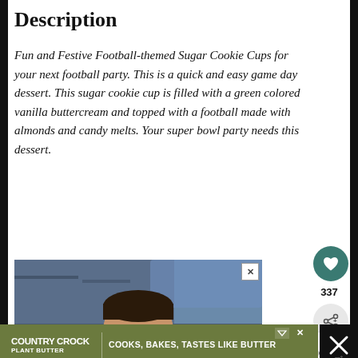Description
Fun and Festive Football-themed Sugar Cookie Cups for your next football party. This is a quick and easy game day dessert. This sugar cookie cup is filled with a green colored vanilla buttercream and topped with a football made with almonds and candy melts. Your super bowl party needs this dessert.
[Figure (photo): Advertisement photo showing a young child eating/licking something, in a classroom setting. Advertisement banner at bottom for Country Crock Plant Butter with text 'COOKS, BAKES, TASTES LIKE BUTTER']
[Figure (photo): What's Next panel showing a pink sugar cookie with 'Easy Sugar Cookies' label]